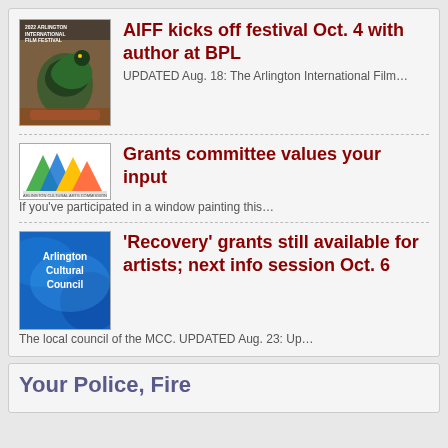AIFF kicks off festival Oct. 4 with author at BPL
UPDATED Aug. 18: The Arlington International Film…
Grants committee values your input
If you've participated in a window painting this…
'Recovery' grants still available for artists; next info session Oct. 6
The local council of the MCC. UPDATED Aug. 23: Up…
Your Police, Fire